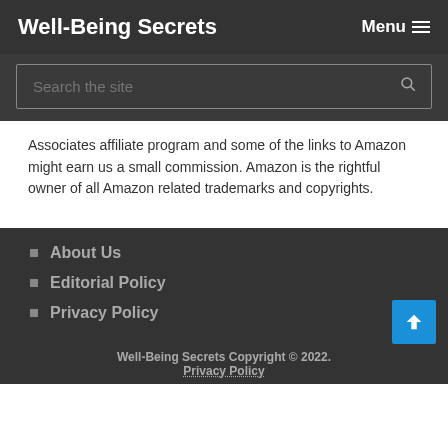Well-Being Secrets   Menu ≡
Search the site
Associates affiliate program and some of the links to Amazon might earn us a small commission. Amazon is the rightful owner of all Amazon related trademarks and copyrights.
About Us
Editorial Policy
Privacy Policy
Well-Being Secrets Copyright © 2022. Privacy Policy